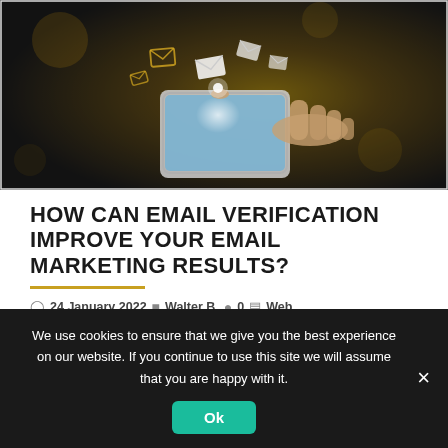[Figure (photo): Person holding a tablet with digital email envelope icons floating above it, representing email marketing concept. Dark background with warm bokeh lighting.]
HOW CAN EMAIL VERIFICATION IMPROVE YOUR EMAIL MARKETING RESULTS?
24 January 2022  Walter B.  0  Web,
Those that have deserted email marketing campaigns, to concentrate solely on SEO strategies as well...
We use cookies to ensure that we give you the best experience on our website. If you continue to use this site we will assume that you are happy with it.